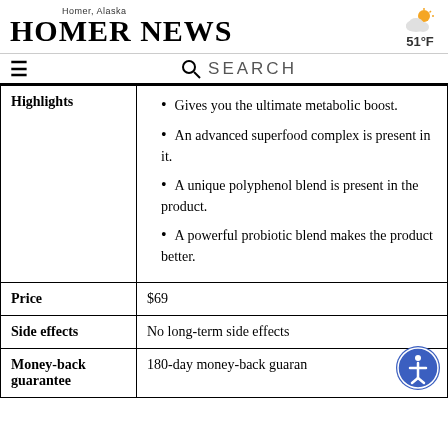Homer, Alaska — HOMER NEWS — 51°F
|  |  |
| --- | --- |
| Highlights | • Gives you the ultimate metabolic boost.
• An advanced superfood complex is present in it.
• A unique polyphenol blend is present in the product.
• A powerful probiotic blend makes the product better. |
| Price | $69 |
| Side effects | No long-term side effects |
| Money-back guarantee | 180-day money-back guarantee |